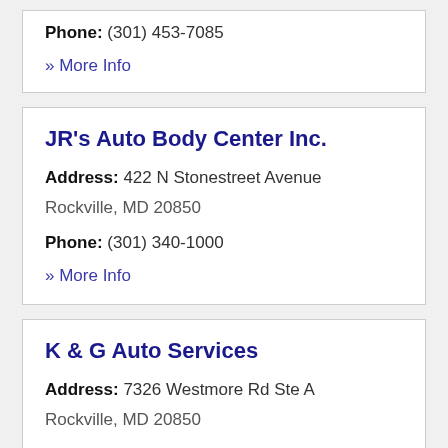Phone: (301) 453-7085
» More Info
JR's Auto Body Center Inc.
Address: 422 N Stonestreet Avenue Rockville, MD 20850
Phone: (301) 340-1000
» More Info
K & G Auto Services
Address: 7326 Westmore Rd Ste A Rockville, MD 20850
Phone: (301) 738-2380
» More Info